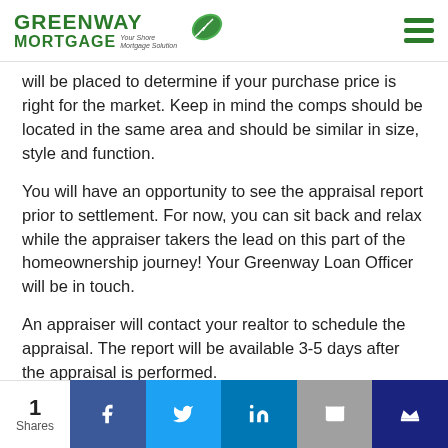Greenway Mortgage — Your Shore Mortgage Solution
will be placed to determine if your purchase price is right for the market. Keep in mind the comps should be located in the same area and should be similar in size, style and function.
You will have an opportunity to see the appraisal report prior to settlement. For now, you can sit back and relax while the appraiser takers the lead on this part of the homeownership journey! Your Greenway Loan Officer will be in touch.
An appraiser will contact your realtor to schedule the appraisal. The report will be available 3-5 days after the appraisal is performed.
1 Shares | Facebook | Twitter | LinkedIn | Email | Crown